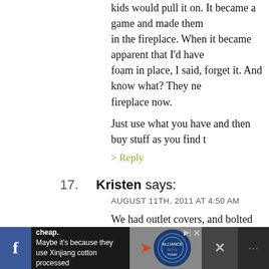kids would pull it on. It became a game and made them in the fireplace. When it became apparent that I'd have foam in place, I said, forget it. And know what? They never fireplace now.
Just use what you have and then buy stuff as you find t
> Reply
17. Kristen says:
AUGUST 11TH, 2011 AT 4:50 AM

We had outlet covers, and bolted large pieces of climba the wall. I also had a baby gate at the top of the stairs (i upstairs) or bottom (if they were downstairs.) Personal that other babyproofing stuff is needed. If she keeps go bathroom, just shut the door. If she tries escaping the h that's another story...then I'd install a lock up high so sh it. She'll learn quick. 🙂
> Reply
[Figure (other): Advertisement bar at bottom: dark background with Facebook icon, SHEIN ad text about Xinjiang cotton, arrow pointing to circular logo, close button, X icon]